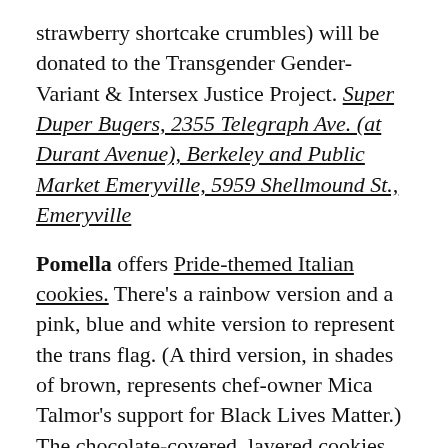strawberry shortcake crumbles) will be donated to the Transgender Gender-Variant & Intersex Justice Project. Super Duper Bugers, 2355 Telegraph Ave. (at Durant Avenue), Berkeley and Public Market Emeryville, 5959 Shellmound St., Emeryville
Pomella offers Pride-themed Italian cookies. There's a rainbow version and a pink, blue and white version to represent the trans flag. (A third version, in shades of brown, represents chef-owner Mica Talmor's support for Black Lives Matter.) The chocolate-covered, layered cookies are made with almond paste, with a spread of apricot and raspberry jam between each colored row. Pomella, 3770 Piedmont Ave. (Yosemite), Oakland
And finally you can always get a soft serve, one...